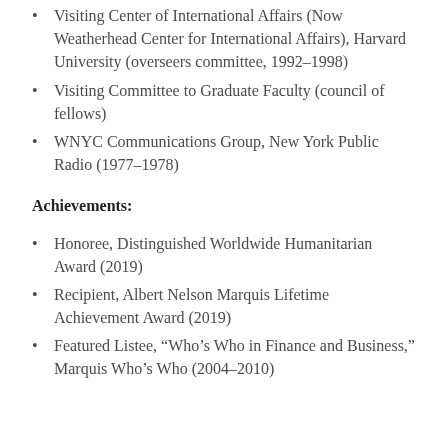Visiting Center of International Affairs (Now Weatherhead Center for International Affairs), Harvard University (overseers committee, 1992–1998)
Visiting Committee to Graduate Faculty (council of fellows)
WNYC Communications Group, New York Public Radio (1977–1978)
Achievements:
Honoree, Distinguished Worldwide Humanitarian Award (2019)
Recipient, Albert Nelson Marquis Lifetime Achievement Award (2019)
Featured Listee, “Who’s Who in Finance and Business,” Marquis Who’s Who (2004–2010)